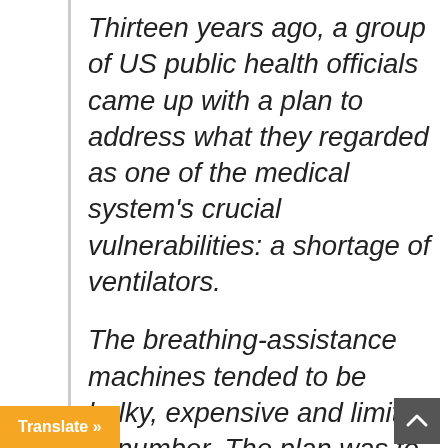Thirteen years ago, a group of US public health officials came up with a plan to address what they regarded as one of the medical system's crucial vulnerabilities: a shortage of ventilators.
The breathing-assistance machines tended to be bulky, expensive and limited in number. The plan was to build a large fleet of inexpensive portable devices to deploy in a flu pandemic or another crisis.